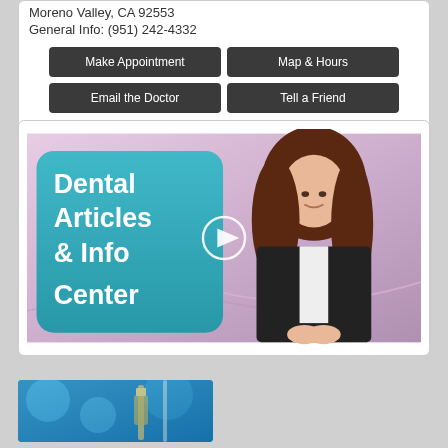Moreno Valley, CA 92553
General Info: (951) 242-4332
Make Appointment
Map & Hours
Email the Doctor
Tell a Friend
[Figure (screenshot): Dental Articles & Info Center video thumbnail with a woman in a black blazer on a pink background, with a teal banner showing 'Dental Articles & Info Center' and a play button overlay]
[Figure (photo): Close-up photo of dental/medical instruments on a blue background, partially visible at bottom]